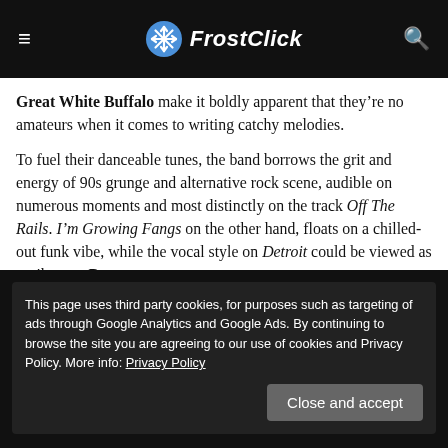FrostClick
Great White Buffalo make it boldly apparent that they're no amateurs when it comes to writing catchy melodies.
To fuel their danceable tunes, the band borrows the grit and energy of 90s grunge and alternative rock scene, audible on numerous moments and most distinctly on the track Off The Rails. I'm Growing Fangs on the other hand, floats on a chilled-out funk vibe, while the vocal style on Detroit could be viewed as a tribute to Bono.
This page uses third party cookies, for purposes such as targeting of ads through Google Analytics and Google Ads. By continuing to browse the site you are agreeing to our use of cookies and Privacy Policy. More info: Privacy Policy